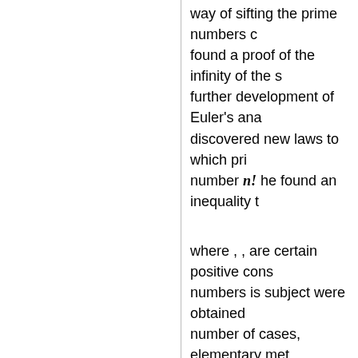way of sifting the prime numbers c found a proof of the infinity of the s further development of Euler's ana discovered new laws to which pri number n! he found an inequality t
where , , are certain positive cons numbers is subject were obtained number of cases, elementary met
Prime numbers are related not on numbers. Goldbach's problem on characteristic in this respect (cf. G theory). The study of laws of deco prime numbers. E.g., by consideri Gauss number) one obtains Euler
Up till now (1990) there are a num
Is the set of Mersenne prime num